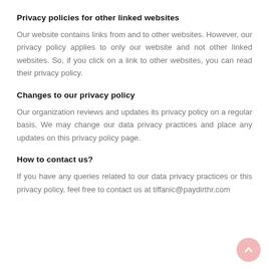Privacy policies for other linked websites
Our website contains links from and to other websites. However, our privacy policy applies to only our website and not other linked websites. So, if you click on a link to other websites, you can read their privacy policy.
Changes to our privacy policy
Our organization reviews and updates its privacy policy on a regular basis. We may change our data privacy practices and place any updates on this privacy policy page.
How to contact us?
If you have any queries related to our data privacy practices or this privacy policy, feel free to contact us at tiffanic@paydirthr.com